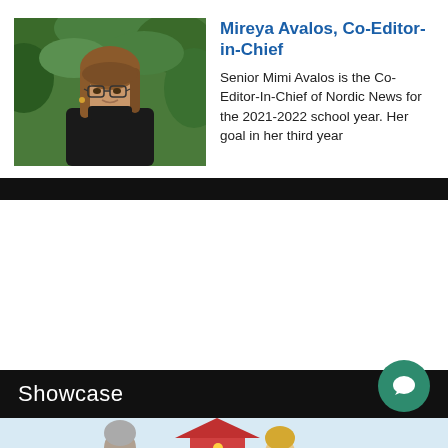[Figure (photo): Photo of Mireya Avalos, a young woman with glasses and long hair wearing a black turtleneck, seated outdoors in front of green bushes.]
Mireya Avalos, Co-Editor-in-Chief
Senior Mimi Avalos is the Co-Editor-In-Chief of Nordic News for the 2021-2022 school year. Her goal in her third year...
Showcase
[Figure (illustration): Illustration showing two figures, one with grey hair and one with blonde hair, with a red house/building between them, on a light blue background.]